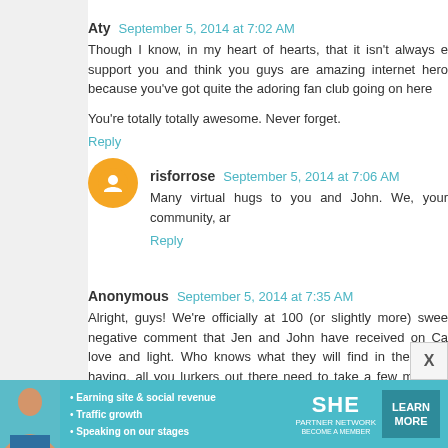Aty  September 5, 2014 at 7:02 AM
Though I know, in my heart of hearts, that it isn't always e support you and think you guys are amazing internet hero because you've got quite the adoring fan club going on here
You're totally totally awesome. Never forget.
Reply
risforrose  September 5, 2014 at 7:06 AM
Many virtual hugs to you and John. We, your community, ar
Reply
Anonymous  September 5, 2014 at 7:35 AM
Alright, guys! We're officially at 100 (or slightly more) swee negative comment that Jen and John have received on Ca love and light. Who knows what they will find in their inbo having, all you lurkers out there need to take a few minutes Epbot.
[Figure (infographic): SHE Partner Network advertisement banner with photo of woman, bullet points: Earning site & social revenue, Traffic growth, Speaking on our stages, logo, and LEARN MORE button]